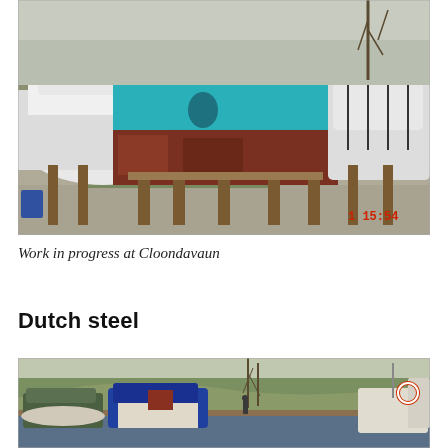[Figure (photo): Boats stored out of water on wooden supports in a boatyard at Cloondavaun. The central boat is painted bright turquoise/teal with a rusty hull bottom. A white motorboat is on the left and a covered white boat is on the right. Gravel and grass ground, bare winter trees in the background. A red timestamp '1 15:54' is visible in the lower right area of the photo.]
Work in progress at Cloondavaun
Dutch steel
[Figure (photo): A marina or harbour scene showing several boats moored at a dock. In the foreground are small motorboats with blue tarps/covers. Rolling green hills in the background and bare winter trees. The photo is partially cropped at the bottom of the page.]